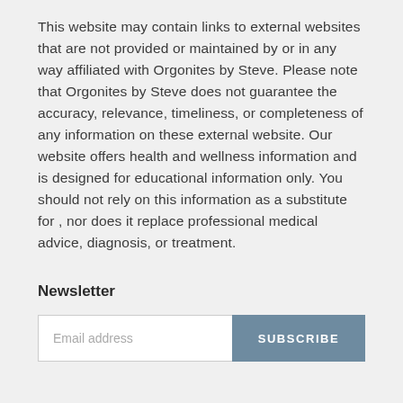This website may contain links to external websites that are not provided or maintained by or in any way affiliated with Orgonites by Steve. Please note that Orgonites by Steve does not guarantee the accuracy, relevance, timeliness, or completeness of any information on these external website. Our website offers health and wellness information and is designed for educational information only. You should not rely on this information as a substitute for , nor does it replace professional medical advice, diagnosis, or treatment.
Newsletter
[Figure (other): Email address input field with a SUBSCRIBE button]